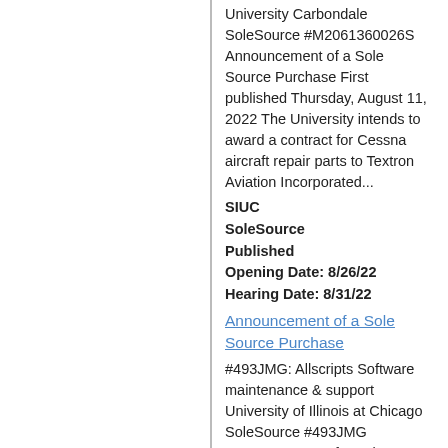University Carbondale SoleSource #M2061360026S Announcement of a Sole Source Purchase First published Thursday, August 11, 2022 The University intends to award a contract for Cessna aircraft repair parts to Textron Aviation Incorporated...
SIUC
SoleSource
Published
Opening Date: 8/26/22
Hearing Date: 8/31/22
Announcement of a Sole Source Purchase
#493JMG: Allscripts Software maintenance & support University of Illinois at Chicago SoleSource #493JMG Announcement of a Sole Source Purchase Change Order Published Monday August 8, 2022 Vendor: Allscripts Change Order Amount: $0 An assignment occurred on December 31, 2020 from